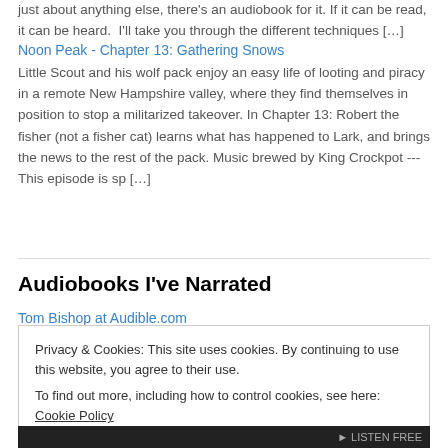just about anything else, there's an audiobook for it. If it can be read, it can be heard.  I'll take you through the different techniques […]
Noon Peak - Chapter 13: Gathering Snows
Little Scout and his wolf pack enjoy an easy life of looting and piracy in a remote New Hampshire valley, where they find themselves in position to stop a militarized takeover. In Chapter 13: Robert the fisher (not a fisher cat) learns what has happened to Lark, and brings the news to the rest of the pack. Music brewed by King Crockpot --- This episode is sp […]
Audiobooks I've Narrated
Tom Bishop at Audible.com
Privacy & Cookies: This site uses cookies. By continuing to use this website, you agree to their use.
To find out more, including how to control cookies, see here: Cookie Policy